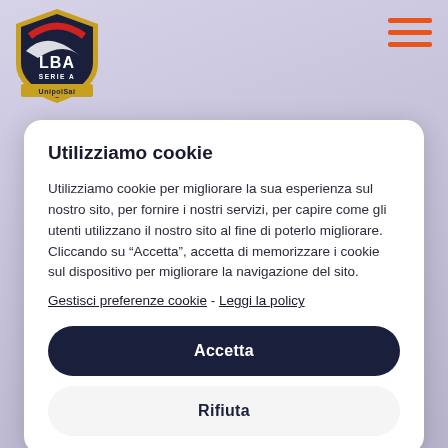[Figure (logo): LBA Serie A UnipolSai basketball league shield logo in red, gold and navy blue]
[Figure (other): Hamburger menu icon with three orange horizontal bars]
Utilizziamo cookie
Utilizziamo cookie per migliorare la sua esperienza sul nostro sito, per fornire i nostri servizi, per capire come gli utenti utilizzano il nostro sito al fine di poterlo migliorare. Cliccando su "Accetta", accetta di memorizzare i cookie sul dispositivo per migliorare la navigazione del sito.
Gestisci preferenze cookie - Leggi la policy
Accetta
Rifiuta